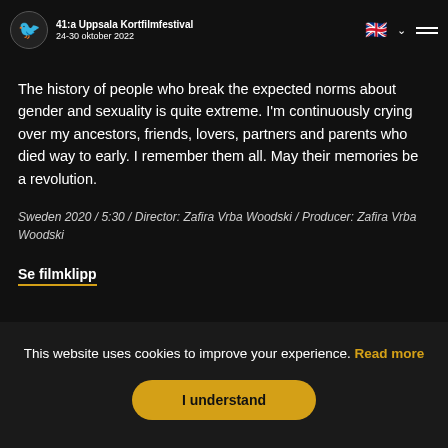41:a Uppsala Kortfilmfestival 24-30 oktober 2022
OF ESTROGEN AND TEARS OF TESTOSTERONE
The history of people who break the expected norms about gender and sexuality is quite extreme. I'm continuously crying over my ancestors, friends, lovers, partners and parents who died way to early. I remember them all. May their memories be a revolution.
Sweden 2020 / 5:30 / Director: Zafira Vrba Woodski / Producer: Zafira Vrba Woodski
Se filmklipp
This website uses cookies to improve your experience. Read more
I understand